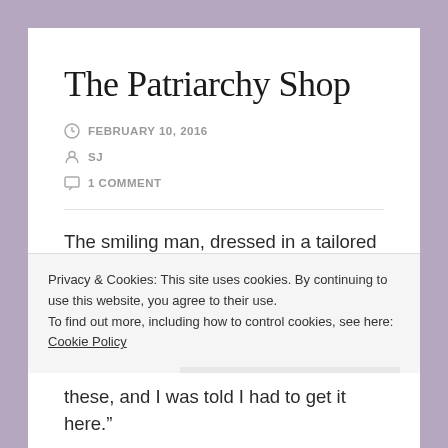The Patriarchy Shop
FEBRUARY 10, 2016
SJ
1 COMMENT
The smiling man, dressed in a tailored dark suit, leaned over the polished oak and marble counter.
“Welcome to the Christian Patriarchy Market! How
Privacy & Cookies: This site uses cookies. By continuing to use this website, you agree to their use.
To find out more, including how to control cookies, see here: Cookie Policy
Close and accept
these, and I was told I had to get it here.”